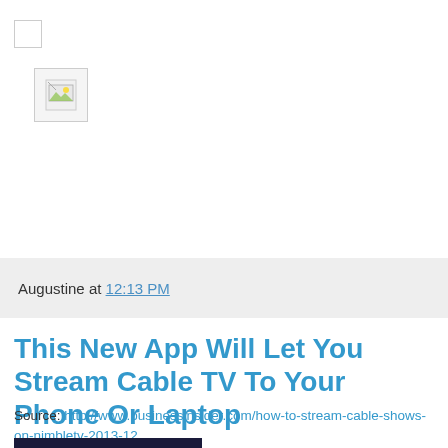[Figure (screenshot): Broken/loading image placeholder icons: a small checkbox outline at top-left and a broken image icon below it on a white background]
Augustine at 12:13 PM
This New App Will Let You Stream Cable TV To Your Phone Or Laptop
Source: http://www.businessinsider.com/how-to-stream-cable-shows-on-nimbletv-2013-12
[Figure (photo): Bottom portion of an image, mostly dark/black, partially visible at the bottom of the page]